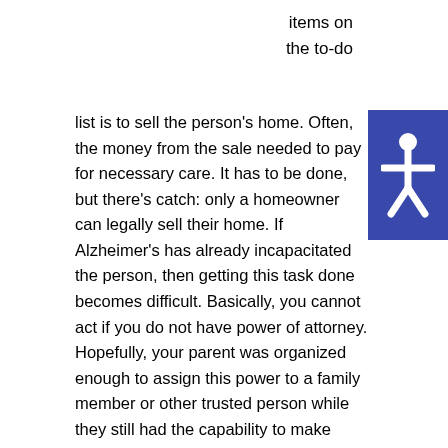items on
the to-do
list is to sell the person's home. Often, the money from the sale needed to pay for necessary care. It has to be done, but there's catch: only a homeowner can legally sell their home. If Alzheimer's has already incapacitated the person, then getting this task done becomes difficult. Basically, you cannot act if you do not have power of attorney. Hopefully, your parent was organized enough to assign this power to a family member or other trusted person while they still had the capability to make these important decisions. But all too often, this step has been postponed, and now that the parent has lost capacity to make decisions, it's too late. The caregiver's only option now is to apply for guardianship of their loved one through the legal system. However, be forewarned that the process of obtaining guardianship is expensive and draining. For one thing, the court will need to award you the right to complete every step of the process. You need to have permission to sell the home, you need to get court approval of the sale price, and then you need to have permission to use the proceeds to pay for senior care. Getting these rulings made will take anywhere from a few weeks to a
[Figure (illustration): Accessibility icon: white human figure with arms outstretched on a blue/indigo square background]